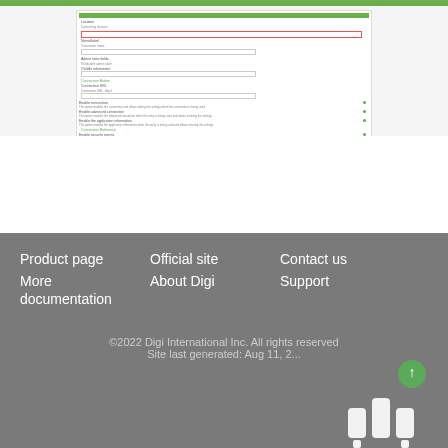[Figure (screenshot): Screenshot of a web UI configuration form with fields including Location, Name/Label, Admin state fields, Connection Button link, Connection URL field, and several toggle rows with green dot indicators. A green top bar and black bottom navigation bar are visible.]
Product page
Official site
Contact us
More documentation
About Digi
Support
©2022 Digi International Inc. All rights reserved
Site last generated: Aug 11, 2...